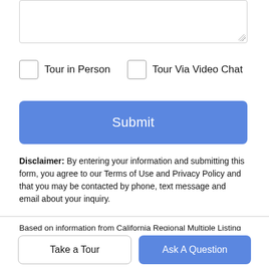[textarea input field]
Tour in Person
Tour Via Video Chat
Submit
Disclaimer: By entering your information and submitting this form, you agree to our Terms of Use and Privacy Policy and that you may be contacted by phone, text message and email about your inquiry.
Based on information from California Regional Multiple Listing Service, Inc. as of 2022-08-30T00:40:19.063. This information is for your personal, non-commercial use and may not be used for any purpose other than to identify prospective properties you may be interested in purchasing. Display of MLS data is deemed reliable but is not guaranteed accurate by the MLS or Doherty Real Estate Group LeXp Realty of California, Inc. Licensed in the State
Take a Tour
Ask A Question